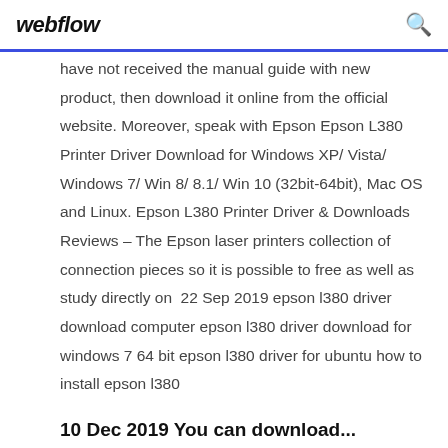webflow
have not received the manual guide with new product, then download it online from the official website. Moreover, speak with Epson Epson L380 Printer Driver Download for Windows XP/ Vista/ Windows 7/ Win 8/ 8.1/ Win 10 (32bit-64bit), Mac OS and Linux. Epson L380 Printer Driver & Downloads Reviews – The Epson laser printers collection of connection pieces so it is possible to free as well as study directly on  22 Sep 2019 epson l380 driver download computer epson l380 driver download for windows 7 64 bit epson l380 driver for ubuntu how to install epson l380
10 Dec 2019 You can download...